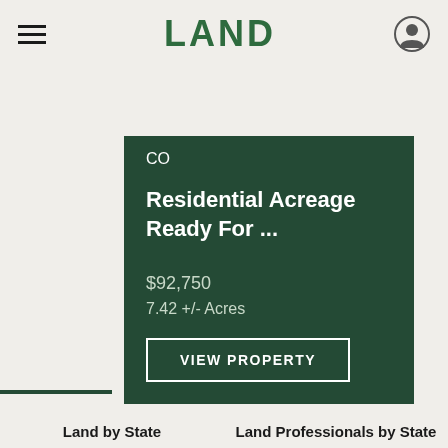LAND
CO
Residential Acreage Ready For ...
$92,750
7.42 +/- Acres
VIEW PROPERTY
Land by State
Land Professionals by State